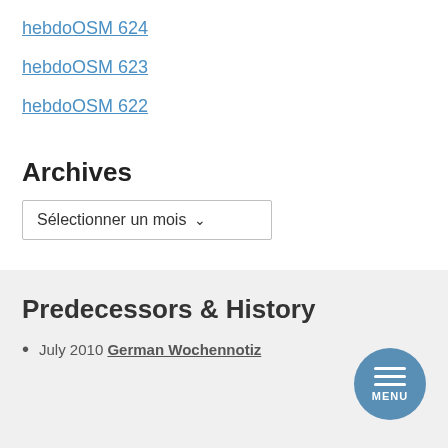hebdoOSM 624
hebdoOSM 623
hebdoOSM 622
Archives
Sélectionner un mois
Predecessors & History
July 2010 German Wochennotiz